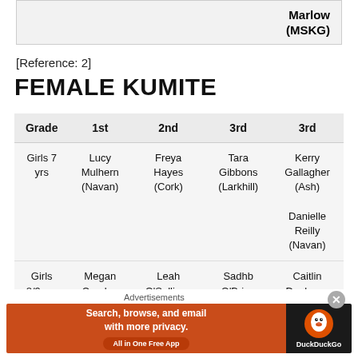Marlow (MSKG)
[Reference: 2]
FEMALE KUMITE
| Grade | 1st | 2nd | 3rd | 3rd |
| --- | --- | --- | --- | --- |
| Girls 7 yrs | Lucy Mulhern (Navan) | Freya Hayes (Cork) | Tara Gibbons (Larkhill) | Kerry Gallagher (Ash)
Danielle Reilly (Navan) |
| Girls 8/9 yrs | Megan Carolan | Leah O'Sullivan | Sadhb O'Brien | Caitlin Dunlevey |